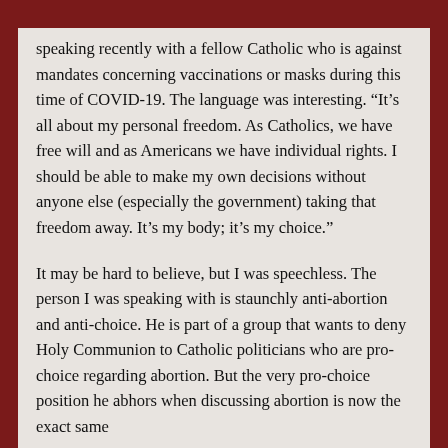speaking recently with a fellow Catholic who is against mandates concerning vaccinations or masks during this time of COVID-19. The language was interesting. “It’s all about my personal freedom. As Catholics, we have free will and as Americans we have individual rights. I should be able to make my own decisions without anyone else (especially the government) taking that freedom away. It’s my body; it’s my choice.”
It may be hard to believe, but I was speechless. The person I was speaking with is staunchly anti-abortion and anti-choice. He is part of a group that wants to deny Holy Communion to Catholic politicians who are pro-choice regarding abortion. But the very pro-choice position he abhors when discussing abortion is now the exact same